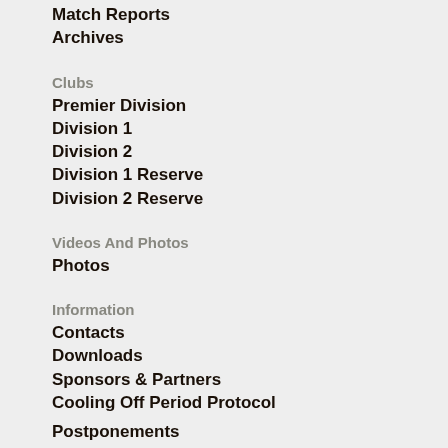Match Reports
Archives
Clubs
Premier Division
Division 1
Division 2
Division 1 Reserve
Division 2 Reserve
Videos And Photos
Photos
Information
Contacts
Downloads
Sponsors & Partners
Cooling Off Period Protocol
Postponements